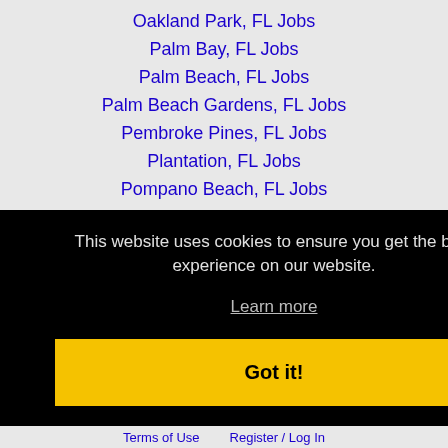Oakland Park, FL Jobs
Palm Bay, FL Jobs
Palm Beach, FL Jobs
Palm Beach Gardens, FL Jobs
Pembroke Pines, FL Jobs
Plantation, FL Jobs
Pompano Beach, FL Jobs
South Beach, FL Jobs
Sunrise, FL Jobs
Tamarac, FL Jobs
This website uses cookies to ensure you get the best experience on our website.
Learn more
Got it!
Terms of Use   Register / Log In